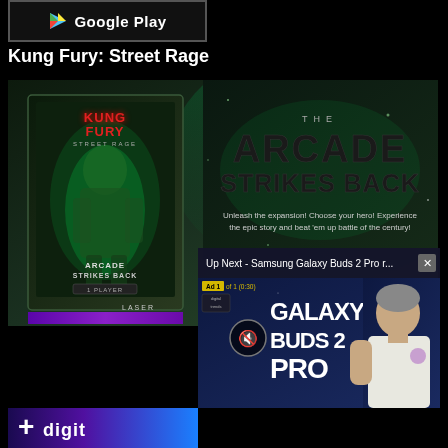[Figure (screenshot): Google Play button/badge at top left]
Kung Fury: Street Rage
[Figure (screenshot): Kung Fury Street Rage - The Arcade Strikes Back game promotional image with tagline: Unleash the expansion! Choose your hero! Experience the epic story and beat 'em up battle of the century!]
[Figure (screenshot): Up Next - Samsung Galaxy Buds 2 Pro r... video overlay with Ad 1 of 1 (0:30) counter, mute button, and GALAXY BUDS 2 PRO text with man holding earbuds]
[Figure (screenshot): Bottom partial strip showing Digital Trends logo area with blue/purple gradient]